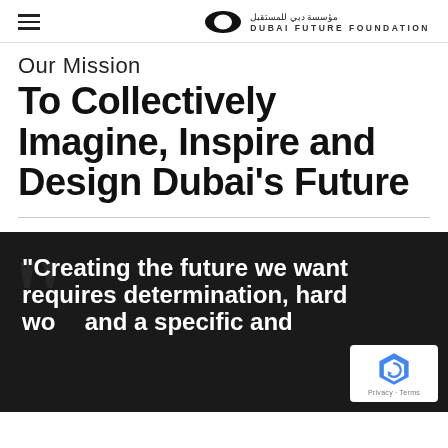Dubai Future Foundation
Our Mission
To Collectively Imagine, Inspire and Design Dubai's Future
“Creating the future we want requires determination, hard work and a specific and